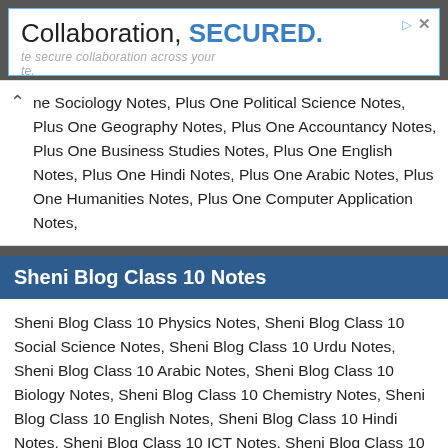[Figure (screenshot): Advertisement banner with 'Collaboration, SECURED.' text and blue border, with ad icons in top right]
ne Sociology Notes, Plus One Political Science Notes, Plus One Geography Notes, Plus One Accountancy Notes, Plus One Business Studies Notes, Plus One English Notes, Plus One Hindi Notes, Plus One Arabic Notes, Plus One Humanities Notes, Plus One Computer Application Notes,
Sheni Blog Class 10 Notes
Sheni Blog Class 10 Physics Notes, Sheni Blog Class 10 Social Science Notes, Sheni Blog Class 10 Urdu Notes, Sheni Blog Class 10 Arabic Notes, Sheni Blog Class 10 Biology Notes, Sheni Blog Class 10 Chemistry Notes, Sheni Blog Class 10 English Notes, Sheni Blog Class 10 Hindi Notes, Sheni Blog Class 10 ICT Notes, Sheni Blog Class 10 Information Technology Notes, Sheni Blog Class 10
[Figure (screenshot): Michigan Ross Executive MBA advertisement banner with yellow text 'Now is the time to lead at a higher level' on black background]
Sheni Blog Class 9 Notes